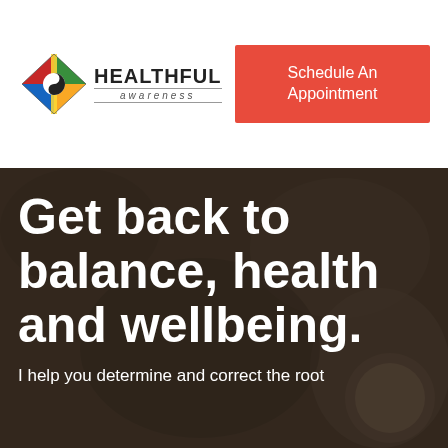[Figure (logo): Healthful Awareness logo with geometric diamond/eye shape in green, blue, yellow and red with yin-yang symbol, next to the text HEALTHFUL awareness]
Schedule An Appointment
Get back to balance, health and wellbeing.
I help you determine and correct the root